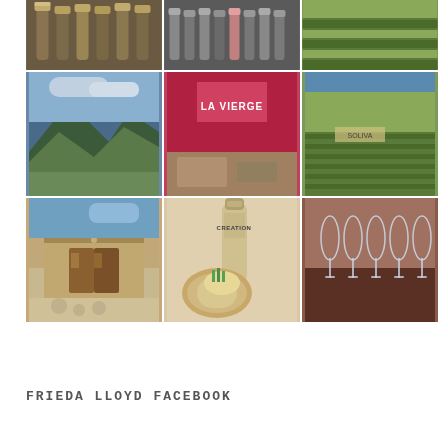[Figure (photo): 3x3 grid of Instagram-style photos showing wine bottles, vineyard landscapes, La Vierge restaurant umbrella, stone winery building, Creation wine bottle with food, and wine glasses on a wooden table]
FRIEDA LLOYD FACEBOOK